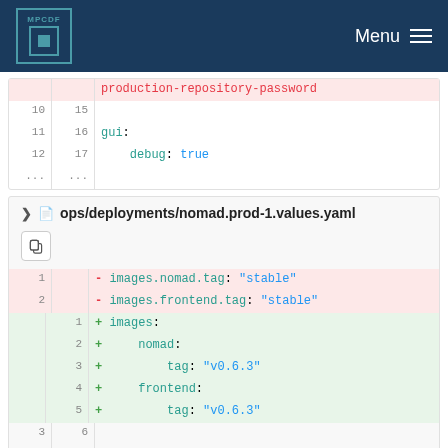MPCDF Menu
| old_ln | new_ln | code |
| --- | --- | --- |
|  |  | production-repository-password |
| 10 | 15 |  |
| 11 | 16 | gui: |
| 12 | 17 |     debug: true |
| ... | ... |  |
ops/deployments/nomad.prod-1.values.yaml
| old_ln | new_ln | sign | code |
| --- | --- | --- | --- |
| 1 |  | - | images.nomad.tag: "stable" |
| 2 |  | - | images.frontend.tag: "stable" |
|  | 1 | + | images: |
|  | 2 | + |     nomad: |
|  | 3 | + |         tag: "v0.6.3" |
|  | 4 | + |     frontend: |
|  | 5 | + |         tag: "v0.6.3" |
| 3 | 6 |  |  |
| 4 | 7 |  | services: |
| 5 | 8 |  |     apiSecret: 'nomad-keycloak-prod-api-secret' |